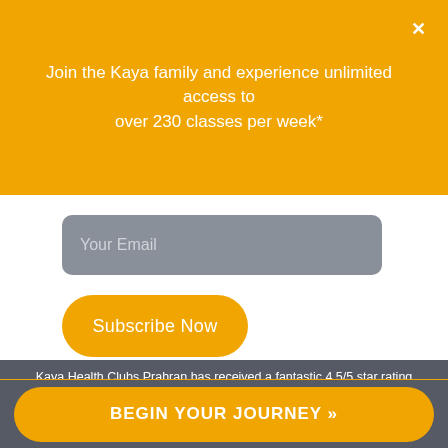Join the Kaya family and experience unlimited access to over 230 classes per week*
Your Email
Subscribe Now
Kaya Health Clubs Prahran has received a fantastic 4.5/5 star rating 4.5 ★★★★½ from over 60 Prahran members on Google & 51
Emporium members.
BEGIN YOUR JOURNEY »